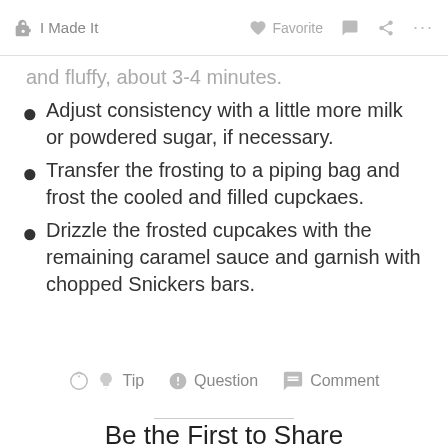I Made It   Favorite   Comment   Share   ...
and fluffy, about 3-4 minutes.
Adjust consistency with a little more milk or powdered sugar, if necessary.
Transfer the frosting to a piping bag and frost the cooled and filled cupckaes.
Drizzle the frosted cupcakes with the remaining caramel sauce and garnish with chopped Snickers bars.
Tip   Question   Comment
Be the First to Share
Did you make this project? Share it with us!